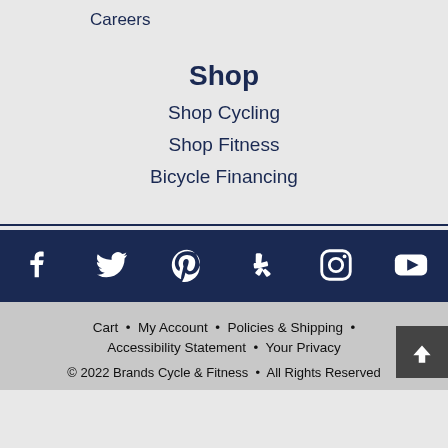Careers
Shop
Shop Cycling
Shop Fitness
Bicycle Financing
[Figure (infographic): Social media icons row: Facebook, Twitter, Pinterest, Yelp, Instagram, YouTube on dark navy background]
Cart • My Account • Policies & Shipping • Accessibility Statement • Your Privacy
© 2022 Brands Cycle & Fitness • All Rights Reserved